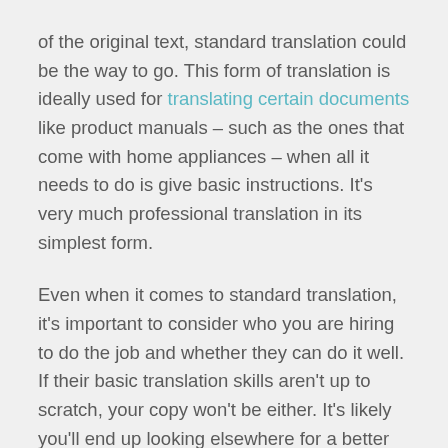of the original text, standard translation could be the way to go. This form of translation is ideally used for translating certain documents like product manuals – such as the ones that come with home appliances – when all it needs to do is give basic instructions. It's very much professional translation in its simplest form.
Even when it comes to standard translation, it's important to consider who you are hiring to do the job and whether they can do it well. If their basic translation skills aren't up to scratch, your copy won't be either. It's likely you'll end up looking elsewhere for a better service when you could have saved yourself the time and money by going there in the first place! You can expect to spend a little more money to get better quality translation, but it will serve you well in the long run.